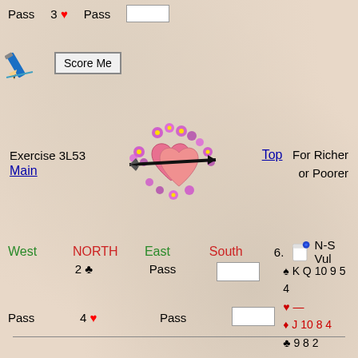Pass   3 ♥   Pass   [input]
[Figure (illustration): Pencil icon (blue pencil writing)]
Score Me (button)
Exercise 3L53
Main
[Figure (illustration): Two pink hearts with flowers and an arrow through them]
Top   For Richer or Poorer
West   NORTH   East   South   6. [note icon] N-S Vul
2 ♣   Pass   [input]   ♠ K Q 10 9 5 4
♥ —
◆ J 10 8 4
♣ 9 8 2
Pass   4 ♥   Pass   [input]